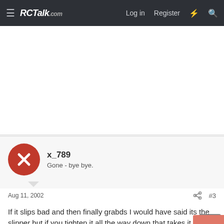RCTalk.com — Log in  Register
[Figure (other): White advertisement/banner area]
x_789
Gone - bye bye.
Aug 11, 2002   #3
If it slips bad and then finally grabds I would have said its the slipper but if you tighten it all the way down that takes it totaly out of the picture. and make sure th